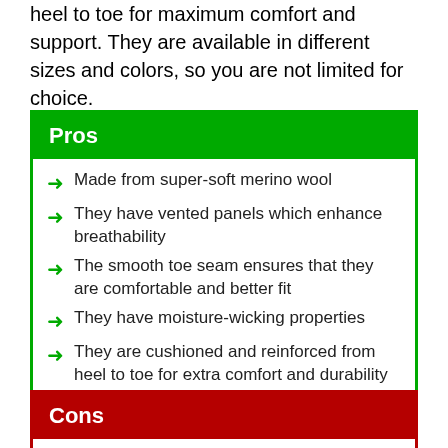heel to toe for maximum comfort and support. They are available in different sizes and colors, so you are not limited for choice.
Pros
Made from super-soft merino wool
They have vented panels which enhance breathability
The smooth toe seam ensures that they are comfortable and better fit
They have moisture-wicking properties
They are cushioned and reinforced from heel to toe for extra comfort and durability
Cons